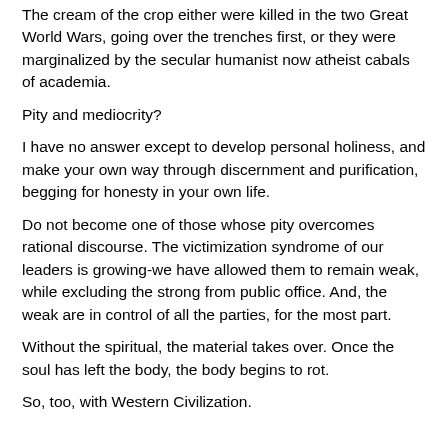The cream of the crop either were killed in the two Great World Wars, going over the trenches first, or they were marginalized by the secular humanist now atheist cabals of academia.
Pity and mediocrity?
I have no answer except to develop personal holiness, and make your own way through discernment and purification, begging for honesty in your own life.
Do not become one of those whose pity overcomes rational discourse. The victimization syndrome of our leaders is growing-we have allowed them to remain weak, while excluding the strong from public office. And, the weak are in control of all the parties, for the most part.
Without the spiritual, the material takes over. Once the soul has left the body, the body begins to rot.
So, too, with Western Civilization.